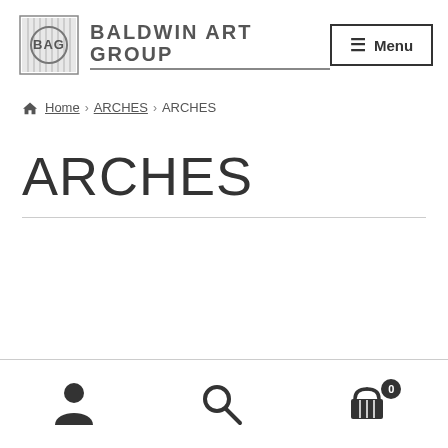[Figure (logo): Baldwin Art Group logo with BAG initials in a decorative box and wordmark text]
Menu
Home › ARCHES › ARCHES
ARCHES
Account icon, Search icon, Shopping cart icon with badge 0